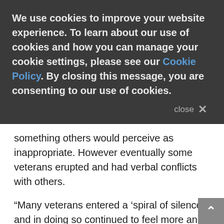We use cookies to improve your website experience. To learn about our use of cookies and how you can manage your cookie settings, please see our Cookie Policy. By closing this message, you are consenting to our use of cookies.
something others would perceive as inappropriate. However eventually some veterans erupted and had verbal conflicts with others.
“Many veterans entered a ‘spiral of silence’, and in doing so continued to feel more and more isolated,” says Howe. “Any prolonged silence about a troubling issue is not good for an individual, and the worry is that this extreme isolation could lead to a feeling that life is not worth living and a decision to permanently silence